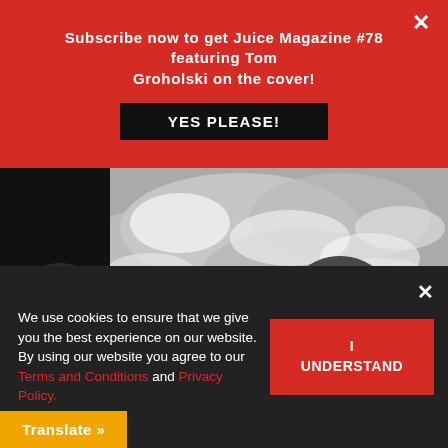Subscribe now to get Juice Magazine #78 featuring Tom Groholski on the cover!
YES PLEASE!
[Figure (photo): Black and white photo of Tommy G (Tom Groholski) in a hooded jacket surrounded by snow-covered trees]
Tommy G was loving the snow. lol... Photo © Dan Levy
We use cookies to ensure that we give you the best experience on our website. By using our website you agree to our Terms and Conditions and Privacy Policy.
I UNDERSTAND